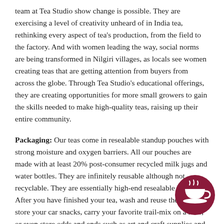team at Tea Studio show change is possible. They are exercising a level of creativity unheard of in India tea, rethinking every aspect of tea's production, from the field to the factory. And with women leading the way, social norms are being transformed in Nilgiri villages, as locals see women creating teas that are getting attention from buyers from across the globe. Through Tea Studio's educational offerings, they are creating opportunities for more small growers to gain the skills needed to make high-quality teas, raising up their entire community.
Packaging: Our teas come in resealable standup pouches with strong moisture and oxygen barriers. All our pouches are made with at least 20% post-consumer recycled milk jugs and water bottles. They are infinitely reusable although not recyclable. They are essentially high-end resealable bags. After you have finished your tea, wash and reuse them to store your car snacks, carry your favorite trail-mix on a hike, or even store odds and ends such as art and craft supplies and toiletries.
[Figure (illustration): Dark red/maroon circular icon with a white teacup and steam rising from it, positioned in the bottom-right corner of the page.]